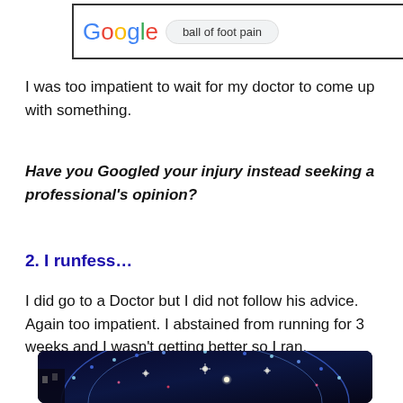[Figure (screenshot): Google search box screenshot showing search query 'ball of foot pain']
I was too impatient to wait for my doctor to come up with something.
Have you Googled your injury instead seeking a professional's opinion?
2. I runfess…
I did go to a Doctor but I did not follow his advice. Again too impatient. I abstained from running for 3 weeks and I wasn't getting better so I ran.
[Figure (photo): Night photo of Christmas lights display with blue and white LED lights in arch/snowflake patterns]